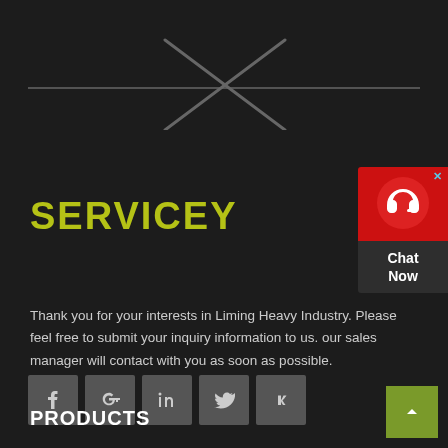[Figure (illustration): Decorative horizontal line with X cross ornament in center, dark gray on dark background]
SERVICEY
[Figure (other): Chat Now widget with headset icon on red background]
Thank you for your interests in Liming Heavy Industry. Please feel free to submit your inquiry information to us. our sales manager will contact with you as soon as possible.
[Figure (infographic): Social media icons row: Facebook, Google+, LinkedIn, Twitter, VK]
PRODUCTS
[Figure (other): Back to top button with upward arrow, olive/yellow-green background]